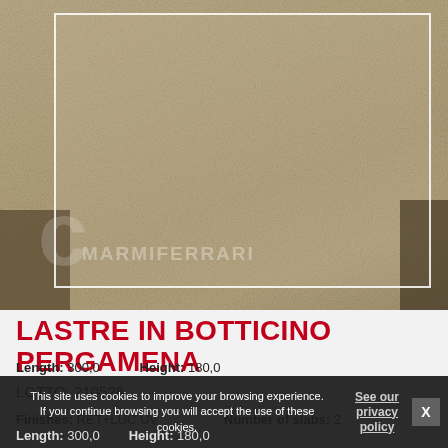[Figure (photo): Close-up photo of Botticino Pergamena marble slab with sandy beige texture and white rectangular outline overlay. MARMIFERRARI watermark visible in lower left. Dark corners visible, especially bottom left and right.]
LASTRE IN BOTTICINO PERGAMENA
LOTTO: 210528
Finishes: RET+LUC UV   Number of slabs: 2   Length: 300,0   Height: 180,0
This site uses cookies to improve your browsing experience. If you continue browsing you will accept the use of these cookies.